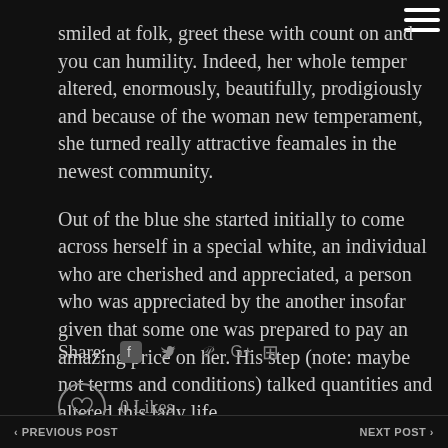smiled at folk, greet these with count on and you can humility. Indeed, her whole temper altered, enormously, beautifully, prodigiously and because of the woman new temperament, she turned really attractive feamales in the newest community.

Out of the blue she started initially to come across herself in a special white, an individual who are cherished and appreciated, a person who was appreciated by the another insofar given that some one was prepared to pay an amazing price on her. His step (note: maybe not terms and conditions) talked quantities and altered this lady life.
Share:
0 Likes
< PREVIOUS POST    NEXT POST >